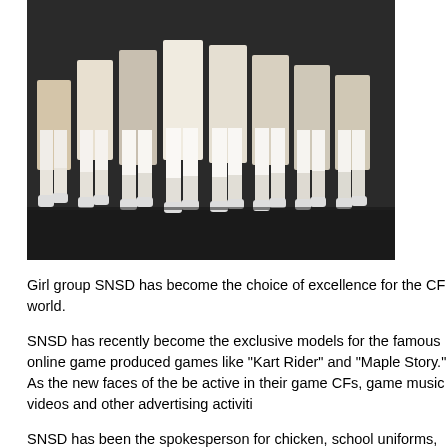[Figure (photo): A group of girls in white uniforms and knee-high white socks standing in a row, showing their legs from approximately waist down, in front of a dark background.]
Girl group SNSD has become the choice of excellence for the CF world.
SNSD has recently become the exclusive models for the famous online game produced games like “Kart Rider” and “Maple Story.” As the new faces of the be active in their game CFs, game music videos and other advertising activiti
SNSD has been the spokesperson for chicken, school uniforms, cell phones, online games. Just as the title suggests, SNSD has become the queen of the is Yoona who is enthusiastically in the middle of the daily drama “You Are My has had her own individual CF activities and is currently receiving alot of love
More than anything, it is evident that SNSD is to be seen in another light tha. Girl groups usually participate in CFs in the midst of their rising popularity, bu the middle of a break right now, have solidified their place as the steady-selle
Additionally, SNSD will participate in the “SM TOWN Live 08” concert that wi Jamsil Stadium on August 15th.